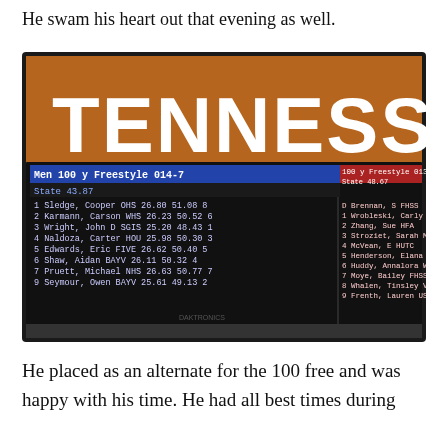He swam his heart out that evening as well.
[Figure (photo): Photo of a scoreboard display showing Tennessee swimming meet results. The scoreboard displays Men 100 y Freestyle 014-7 and Women 100 y Freestyle 013-6 results with swimmer names, teams, split times, and final times.]
He placed as an alternate for the 100 free and was happy with his time. He had all best times during